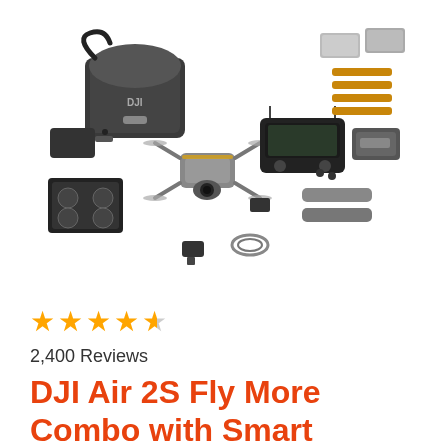[Figure (photo): DJI Air 2S Fly More Combo product flat lay showing the drone, controller, carrying bag, batteries, propellers, filters, charger, and other accessories spread out on a white background.]
★★★★½ 2,400 Reviews
DJI Air 2S Fly More Combo with Smart